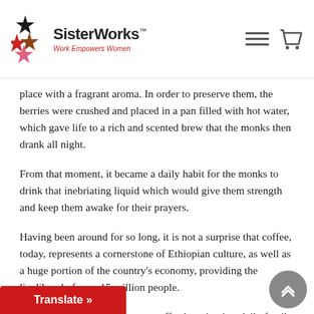SisterWorks™ — Work Empowers Women
place with a fragrant aroma. In order to preserve them, the berries were crushed and placed in a pan filled with hot water, which gave life to a rich and scented brew that the monks then drank all night.
From that moment, it became a daily habit for the monks to drink that inebriating liquid which would give them strength and keep them awake for their prayers.
Having been around for so long, it is not a surprise that coffee, today, represents a cornerstone of Ethiopian culture, as well as a huge portion of the country's economy, providing the livelihood of over 15 million people.
The ceremony of coffee brewing is a daily family ritual for Ethiopian... social life thrives around coffee drinking,